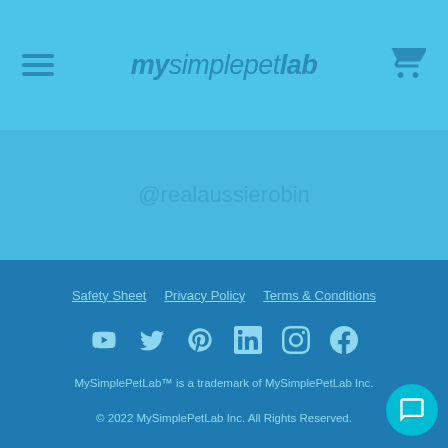mysimplepetlab
@realaussierobin
Safety Sheet   Privacy Policy   Terms & Conditions
[Figure (infographic): Social media icons: YouTube, Twitter, Pinterest, LinkedIn, Instagram, Facebook]
MySimplePetLab™ is a trademark of MySimplePetLab Inc.
© 2022 MySimplePetLab Inc. All Rights Reserved.